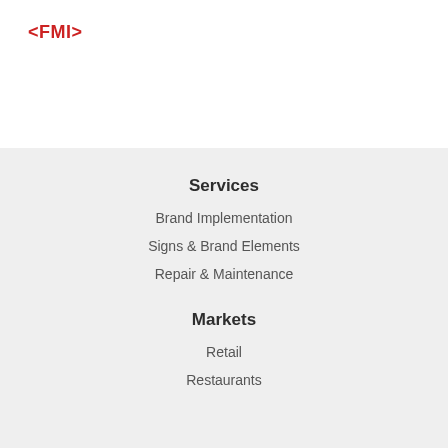<FMI>
Services
Brand Implementation
Signs & Brand Elements
Repair & Maintenance
Markets
Retail
Restaurants